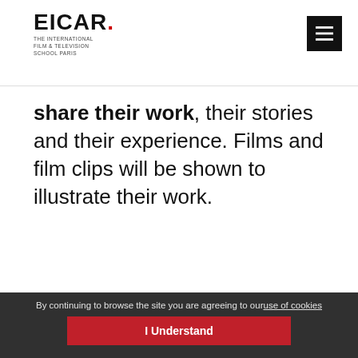EICAR. THE INTERNATIONAL FILM & TELEVISION SCHOOL PARIS
share their work, their stories and their experience. Films and film clips will be shown to illustrate their work.
By continuing to browse the site you are agreeing to our use of cookies  I Understand